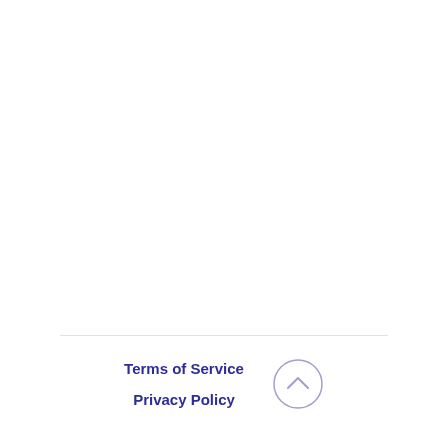Terms of Service
Privacy Policy